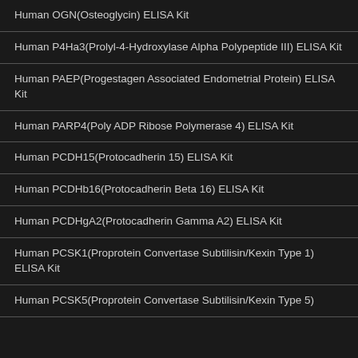Human OGN(Osteoglycin) ELISA Kit
Human P4Ha3(Prolyl-4-Hydroxylase Alpha Polypeptide III) ELISA Kit
Human PAEP(Progestagen Associated Endometrial Protein) ELISA Kit
Human PARP4(Poly ADP Ribose Polymerase 4) ELISA Kit
Human PCDH15(Protocadherin 15) ELISA Kit
Human PCDHb16(Protocadherin Beta 16) ELISA Kit
Human PCDHgA2(Protocadherin Gamma A2) ELISA Kit
Human PCSK1(Proprotein Convertase Subtilisin/Kexin Type 1) ELISA Kit
Human PCSK5(Proprotein Convertase Subtilisin/Kexin Type 5)